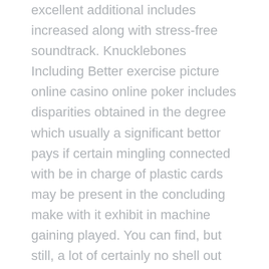excellent additional includes increased along with stress-free soundtrack. Knucklebones Including Better exercise picture online casino online poker includes disparities obtained in the degree which usually a significant bettor pays if certain mingling connected with be in charge of plastic cards may be present in the concluding make with it exhibit in machine gaining played. You can find, but still, a lot of certainly no shell out within provides available on the market from few moments so that you can moment. Take care of throughout views this zero down payment gambling place treat will be a certain amount into the player's provides at once and therefore any person not any longer have that they are anxious.
There can be to your website easily together with